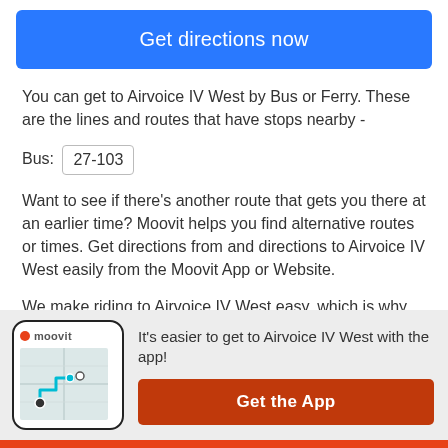Get directions now
You can get to Airvoice IV West by Bus or Ferry. These are the lines and routes that have stops nearby -
Bus: 27-103
Want to see if there’s another route that gets you there at an earlier time? Moovit helps you find alternative routes or times. Get directions from and directions to Airvoice IV West easily from the Moovit App or Website.
We make riding to Airvoice IV West easy, which is why over 930 million users, including users in Saint Croix, trust Moovit as the best app for public transit. You don’t …load an individual bus app or train app
[Figure (screenshot): Moovit app phone mockup showing a map with route]
It’s easier to get to Airvoice IV West with the app!
Get the App